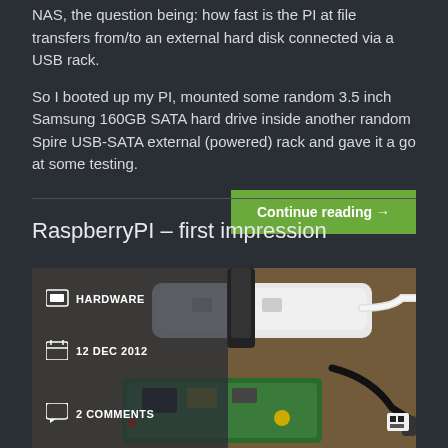NAS, the question being: how fast is the PI at file transfers from/to an external hard disk connected via a USB rack.
So I booted up my PI, mounted some random 3.5 inch Samsung 160GB SATA hard drive inside another random Spire USB-SATA external (powered) rack and gave it a go at some testing.
Continue reading →
RaspberryPI – first impression
[Figure (photo): Photo of Raspberry Pi hardware with USB hub and cables on a wooden surface, with overlay showing metadata: HARDWARE category, date 12 DEC 2012, 2 COMMENTS]
HARDWARE
12 DEC 2012
2 COMMENTS